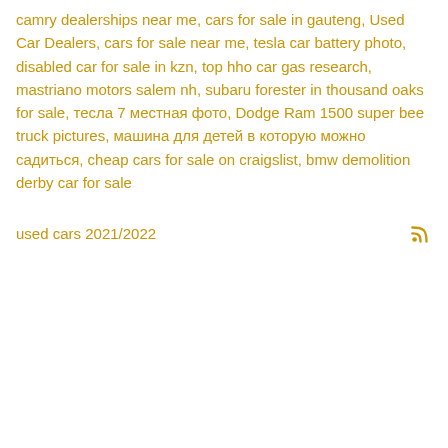camry dealerships near me, cars for sale in gauteng, Used Car Dealers, cars for sale near me, tesla car battery photo, disabled car for sale in kzn, top hho car gas research, mastriano motors salem nh, subaru forester in thousand oaks for sale, тесла 7 местная фото, Dodge Ram 1500 super bee truck pictures, машина для детей в которую можно садиться, cheap cars for sale on craigslist, bmw demolition derby car for sale
used cars 2021/2022